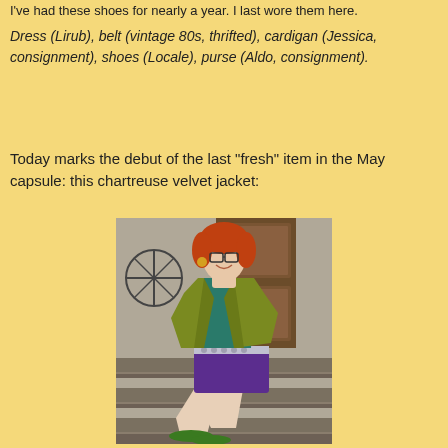I've had these shoes for nearly a year. I last wore them here.
Dress (Lirub), belt (vintage 80s, thrifted), cardigan (Jessica, consignment), shoes (Locale), purse (Aldo, consignment).
Today marks the debut of the last "fresh" item in the May capsule: this chartreuse velvet jacket:
[Figure (photo): A woman with red hair and glasses wearing a chartreuse/olive green velvet jacket over a teal top and purple skirt with a chain belt, seated on outdoor stairs with green shoes visible at bottom.]